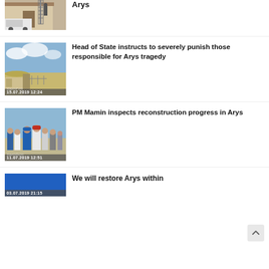[Figure (photo): Construction site with ladder and white vehicle, partial view at top]
Arys
[Figure (photo): Arid landscape field, date 15.07.2019 12:24, kazinform watermark]
Head of State instructs to severely punish those responsible for Arys tragedy
[Figure (photo): Group of officials outdoors, date 11.07.2019 12:51, kazinform watermark]
PM Mamin inspects reconstruction progress in Arys
[Figure (photo): Blue/purple image, date 03.07.2019 21:15]
We will restore Arys within ...